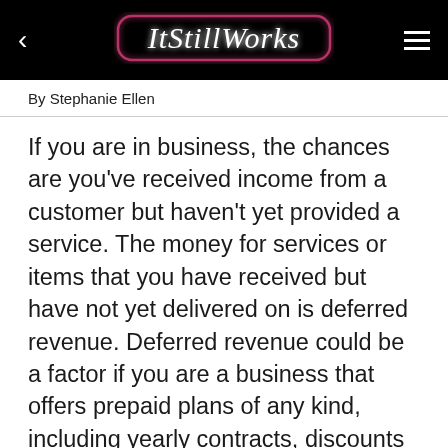ItStillWorks
By Stephanie Ellen
If you are in business, the chances are you've received income from a customer but haven't yet provided a service. The money for services or items that you have received but have not yet delivered on is deferred revenue. Deferred revenue could be a factor if you are a business that offers prepaid plans of any kind, including yearly contracts, discounts for pay-in-advance or any other service where you have been paid but have not yet delivered a service or item. Microsoft Excel can calculate deferred revenue for your business.